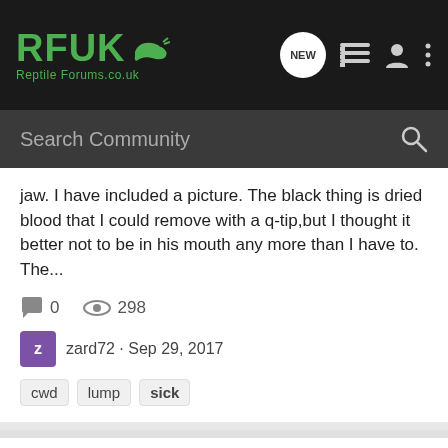RFUK Reptile Forums.co.uk
jaw. I have included a picture. The black thing is dried blood that I could remove with a q-tip,but I thought it better not to be in his mouth any more than I have to. The...
0  298
zard72 · Sep 29, 2017
cwd  lump  sick
*URGENT* Sick Musk Turtle
Shelled - Turtles & Tortoise
Hi, I have 2 musk turtles with one sick one. He has a red (half head sized) bubble on his right side of the neck. The bubble goes away by breathing in (the whole neck goes inward just as normal), when he is getting air, but the bubble